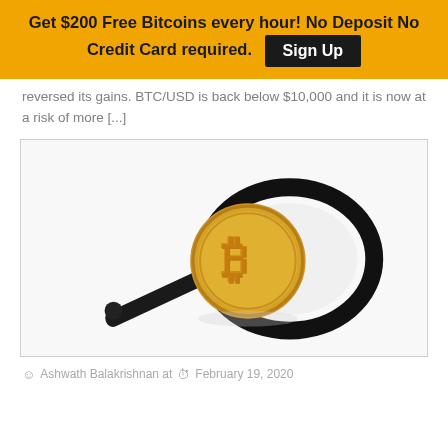Get $200 Free Bitcoins every hour! No Deposit No Credit Card required. Sign Up
reversed its gains. BTC/USD is back below $10,000 and it is now at a risk of more [...]
[Figure (photo): A gold Bitcoin coin leaning against a black magnifying glass on a white background]
Ashwath Balakrishnan at  February 19, 2020